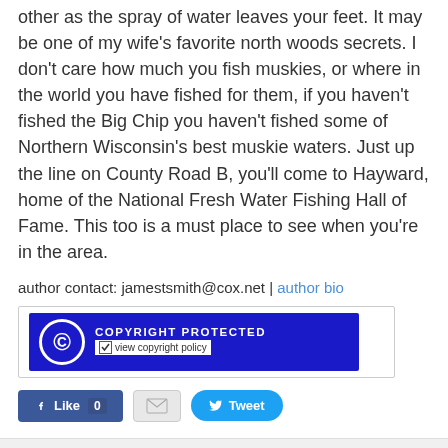other as the spray of water leaves your feet. It may be one of my wife's favorite north woods secrets. I don't care how much you fish muskies, or where in the world you have fished for them, if you haven't fished the Big Chip you haven't fished some of Northern Wisconsin's best muskie waters. Just up the line on County Road B, you'll come to Hayward, home of the National Fresh Water Fishing Hall of Fame. This too is a must place to see when you're in the area.
author contact: jamestsmith@cox.net | author bio
[Figure (screenshot): Copyright Protected badge with blue background and circular C logo, with 'view copyright policy' link below]
[Figure (screenshot): Social sharing buttons: Facebook Like (0), email envelope, Twitter Tweet]
Staff Articles | social icons (Twitter, Facebook, Google+, Pinterest, Email, Share) | back to top button